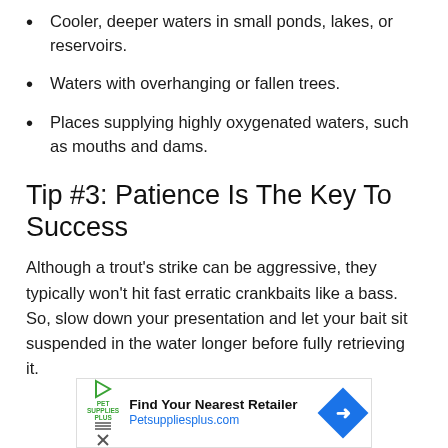Cooler, deeper waters in small ponds, lakes, or reservoirs.
Waters with overhanging or fallen trees.
Places supplying highly oxygenated waters, such as mouths and dams.
Tip #3: Patience Is The Key To Success
Although a trout's strike can be aggressive, they typically won't hit fast erratic crankbaits like a bass. So, slow down your presentation and let your bait sit suspended in the water longer before fully retrieving it.
[Figure (other): Advertisement banner for Pet Supplies Plus showing logo, 'Find Your Nearest Retailer' text, Petsuppliesplus.com URL, and a blue diamond arrow icon.]